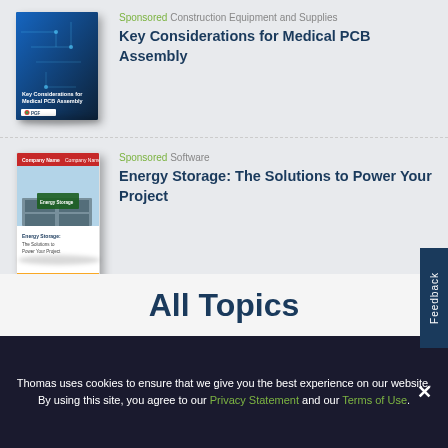[Figure (illustration): Book cover for Key Considerations for Medical PCB Assembly by PGF]
Sponsored Construction Equipment and Supplies
Key Considerations for Medical PCB Assembly
[Figure (illustration): Book cover for Energy Storage: The Solutions to Power Your Project]
Sponsored Software
Energy Storage: The Solutions to Power Your Project
View All Resources →
All Topics
Thomas uses cookies to ensure that we give you the best experience on our website. By using this site, you agree to our Privacy Statement and our Terms of Use.